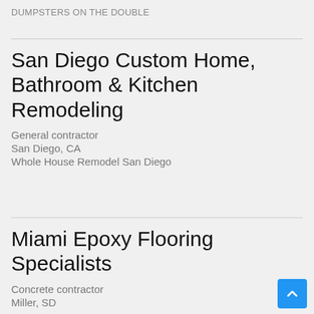DUMPSTERS ON THE DOUBLE
San Diego Custom Home, Bathroom & Kitchen Remodeling
General contractor
San Diego, CA
Whole House Remodel San Diego
Miami Epoxy Flooring Specialists
Concrete contractor
Miller, SD